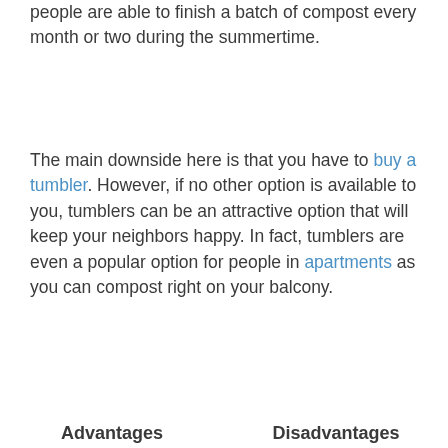people are able to finish a batch of compost every month or two during the summertime.
The main downside here is that you have to buy a tumbler. However, if no other option is available to you, tumblers can be an attractive option that will keep your neighbors happy. In fact, tumblers are even a popular option for people in apartments as you can compost right on your balcony.
| Advantages | Disadvantages |
| --- | --- |